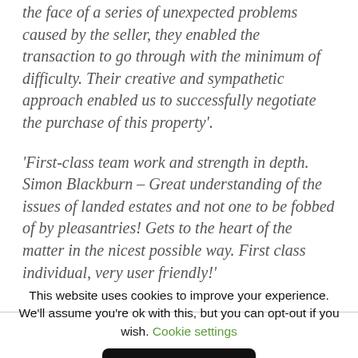the face of a series of unexpected problems caused by the seller, they enabled the transaction to go through with the minimum of difficulty. Their creative and sympathetic approach enabled us to successfully negotiate the purchase of this property'.
'First-class team work and strength in depth. Simon Blackburn – Great understanding of the issues of landed estates and not one to be fobbed of by pleasantries! Gets to the heart of the matter in the nicest possible way. First class individual, very user friendly!'
This website uses cookies to improve your experience. We'll assume you're ok with this, but you can opt-out if you wish. Cookie settings
ACCEPT